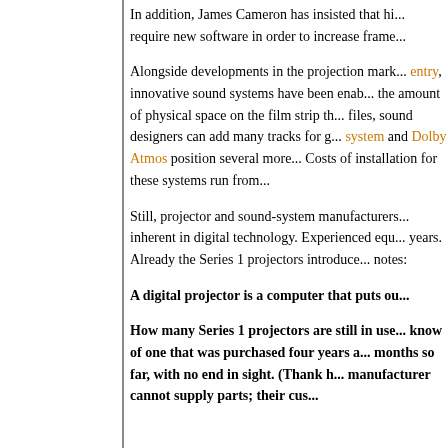In addition, James Cameron has insisted that hi... require new software in order to increase frame...
Alongside developments in the projection mark... entry, innovative sound systems have been ena... the amount of physical space on the film strip th... files, sound designers can add many tracks for g... system and Dolby Atmos position several more... Costs of installation for these systems run from...
Still, projector and sound-system manufacturers... inherent in digital technology. Experienced equ... years. Already the Series 1 projectors introduce... notes:
A digital projector is a computer that puts ou...
How many Series 1 projectors are still in use... know of one that was purchased four years a... months so far, with no end in sight. (Thank h... manufacturer cannot supply parts; their cus...